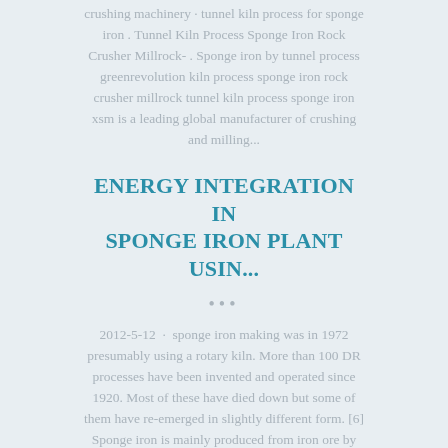crushing machinery · tunnel kiln process for sponge iron . Tunnel Kiln Process Sponge Iron Rock Crusher Millrock- . Sponge iron by tunnel process greenrevolution kiln process sponge iron rock crusher millrock tunnel kiln process sponge iron xsm is a leading global manufacturer of crushing and milling...
ENERGY INTEGRATION IN SPONGE IRON PLANT USIN...
•••
2012-5-12 · sponge iron making was in 1972 presumably using a rotary kiln. More than 100 DR processes have been invented and operated since 1920. Most of these have died down but some of them have re-emerged in slightly different form. [6] Sponge iron is mainly produced from iron ore by two different routes – (a) - by reducing gases (CO and H 2Sponge Iron - an overview | ScienceDirect TopicsDRI, also known as